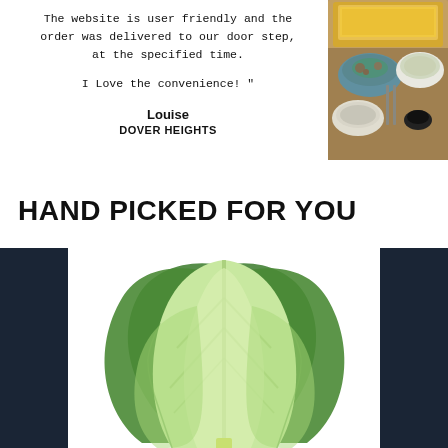The website is user friendly and the order was delivered to our door step, at the specified time. I Love the convenience!"
Louise
DOVER HEIGHTS
[Figure (photo): Overhead photo of multiple food dishes including salads, rice, and sauces on a table]
HAND PICKED FOR YOU
[Figure (photo): Fresh green romaine lettuce leaves on white background, flanked by dark navy blue sidebar panels]